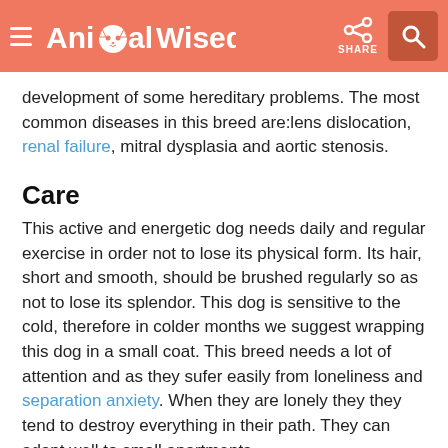AnimalWised — SHARE
development of some hereditary problems. The most common diseases in this breed are:lens dislocation, renal failure, mitral dysplasia and aortic stenosis.
Care
This active and energetic dog needs daily and regular exercise in order not to lose its physical form. Its hair, short and smooth, should be brushed regularly so as not to lose its splendor. This dog is sensitive to the cold, therefore in colder months we suggest wrapping this dog in a small coat. This breed needs a lot of attention and as they sufer easily from loneliness and separation anxiety. When they are lonely they they tend to destroy everything in their path. They can adapt well to small apartments.